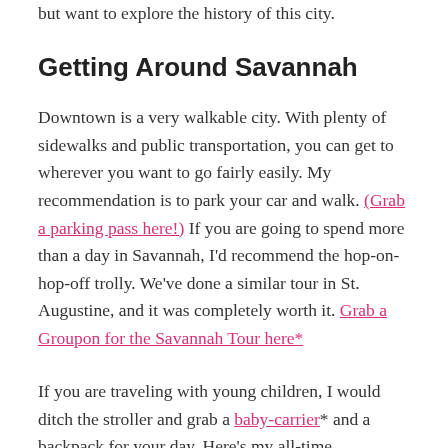but want to explore the history of this city.
Getting Around Savannah
Downtown is a very walkable city. With plenty of sidewalks and public transportation, you can get to wherever you want to go fairly easily. My recommendation is to park your car and walk. (Grab a parking pass here!) If you are going to spend more than a day in Savannah, I'd recommend the hop-on-hop-off trolly. We've done a similar tour in St. Augustine, and it was completely worth it. Grab a Groupon for the Savannah Tour here*
If you are traveling with young children, I would ditch the stroller and grab a baby-carrier* and a backpack for your day. Here's my all-time